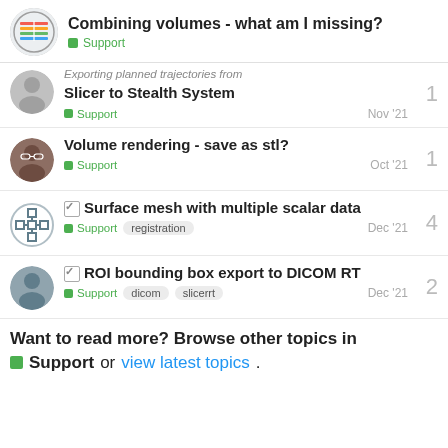Combining volumes - what am I missing? | Support
Exporting planned trajectories from Slicer to Stealth System | Support | Nov '21 | replies: 1
Volume rendering - save as stl? | Support | Oct '21 | replies: 1
☑ Surface mesh with multiple scalar data | Support | registration | Dec '21 | replies: 4
☑ ROI bounding box export to DICOM RT | Support | dicom | slicerrt | Dec '21 | replies: 2
Want to read more? Browse other topics in Support or view latest topics.